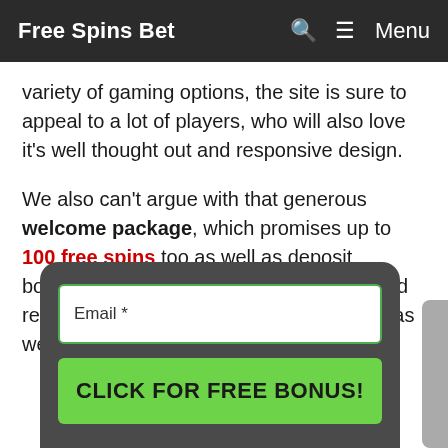Free Spins Bet  Menu
variety of gaming options, the site is sure to appeal to a lot of players, who will also love it's well thought out and responsive design.
We also can't argue with that generous welcome package, which promises up to 100 free spins too as well as deposit bonuses. Overall, Reel Island is a site we'd recommend to any online gaming fanatic, as we'd be pretty confident th...
[Figure (screenshot): Email signup popup modal with a green-bordered email input field labeled 'Email *' and a bright green button reading 'CLICK FOR FREE BONUS!']